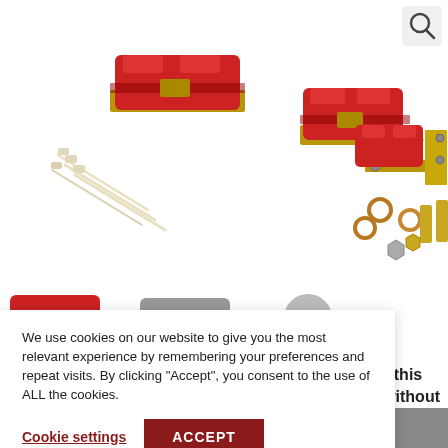[Figure (photo): Product photo showing red polyurethane motor mounts/engine mounts with metal hardware including bolts, washers, nuts, and white zip ties on a white background]
[Figure (photo): Partial view of a second product image row showing red and gray components]
We use cookies on our website to give you the most relevant experience by remembering your preferences and repeat visits. By clicking “Accept”, you consent to the use of ALL the cookies.
Cookie settings
ACCEPT
hop, this
del without